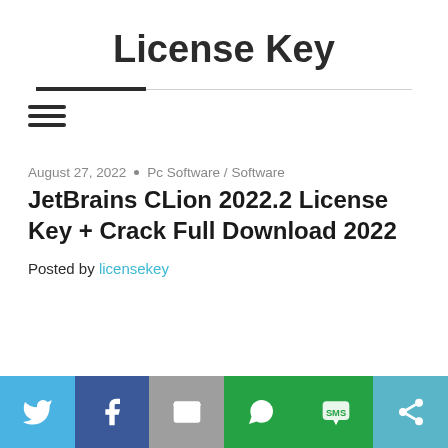License Key
August 27, 2022  •  Pc Software / Software
JetBrains CLion 2022.2 License Key + Crack Full Download 2022
Posted by licensekey